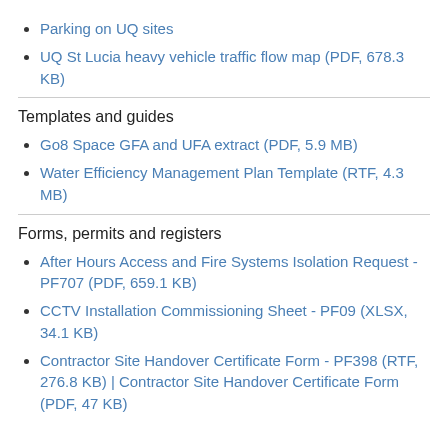Parking on UQ sites
UQ St Lucia heavy vehicle traffic flow map (PDF, 678.3 KB)
Templates and guides
Go8 Space GFA and UFA extract (PDF, 5.9 MB)
Water Efficiency Management Plan Template (RTF, 4.3 MB)
Forms, permits and registers
After Hours Access and Fire Systems Isolation Request - PF707 (PDF, 659.1 KB)
CCTV Installation Commissioning Sheet - PF09 (XLSX, 34.1 KB)
Contractor Site Handover Certificate Form - PF398 (RTF, 276.8 KB) | Contractor Site Handover Certificate Form (PDF, 47 KB)